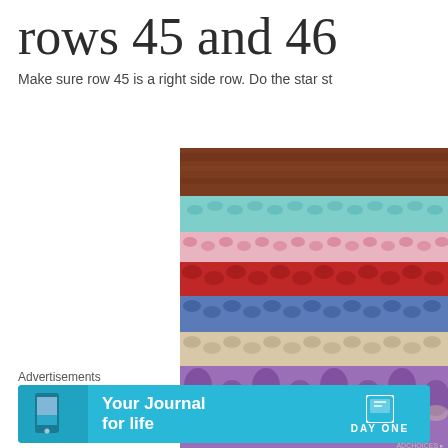rows 45 and 46
Make sure row 45 is a right side row.  Do the star st
[Figure (photo): Close-up photo of colorful crochet fabric laid on a wooden surface, showing horizontal stripes in teal/mint, pink, red, blue, beige, and purple yarn with star stitch pattern]
Advertisements
[Figure (other): Advertisement banner for Day One journal app with blue background, phone image, text 'Your Journal for life' and Day One logo]